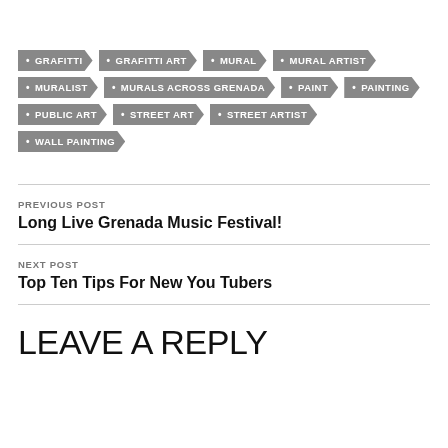GRAFITTI
GRAFITTI ART
MURAL
MURAL ARTIST
MURALIST
MURALS ACROSS GRENADA
PAINT
PAINTING
PUBLIC ART
STREET ART
STREET ARTIST
WALL PAINTING
PREVIOUS POST
Long Live Grenada Music Festival!
NEXT POST
Top Ten Tips For New You Tubers
LEAVE A REPLY